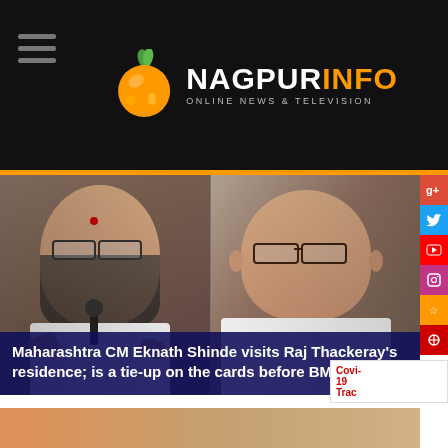NAGPURINFO — ONLINE NEWS & TELEVISION
[Figure (photo): Two men side by side: on the left, Maharashtra CM Eknath Shinde wearing glasses and a tilak, speaking with hands raised; on the right, Raj Thackeray in glasses, speaking.]
Maharashtra CM Eknath Shinde visits Raj Thackeray's residence; is a tie-up on the cards before BMC polls?
[Figure (photo): Social media sidebar icons: Google+, Twitter, YouTube, Instagram, and other social sharing buttons on the right side.]
Covi-19 Trac
[Figure (photo): Bottom image strip partially visible at the bottom of the page.]